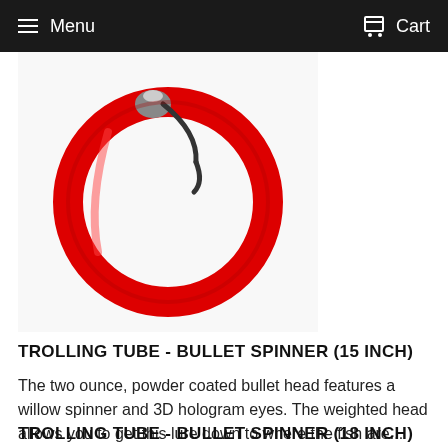Menu   Cart
[Figure (photo): A red trolling tube fishing lure with a curved red tube body and a metallic bullet head with a hook, photographed on a white background.]
TROLLING TUBE - BULLET SPINNER (15 INCH)
The two ounce, powder coated bullet head features a willow spinner and 3D hologram eyes. The weighted head allows you to get this lure down to where the fish are...
17.95
TROLLING TUBE - BULLET SPINNER (18 INCH)